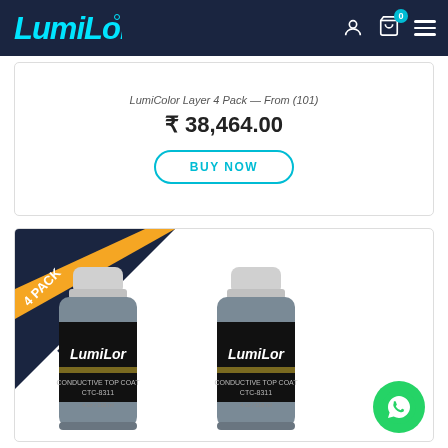LumiLor header with logo and navigation icons
LumiColor Layer 4 Pack — From (101)
₹ 38,464.00
BUY NOW
[Figure (photo): 4-pack bundle badge with two Lumilor Conductive Top Coat CTC-8311 bottles shown, with WhatsApp button overlay]